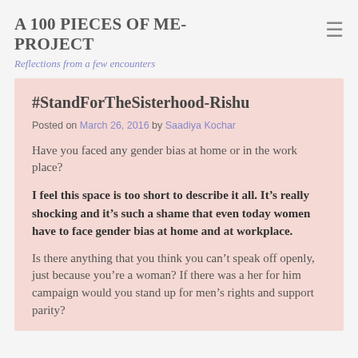A 100 PIECES OF ME-PROJECT
Reflections from a few encounters
#StandForTheSisterhood-Rishu
Posted on March 26, 2016 by Saadiya Kochar
Have you faced any gender bias at home or in the work place?
I feel this space is too short to describe it all. It’s really shocking and it’s such a shame that even today women have to face gender bias at home and at workplace.
Is there anything that you think you can’t speak off openly, just because you’re a woman? If there was a her for him campaign would you stand up for men’s rights and support parity?